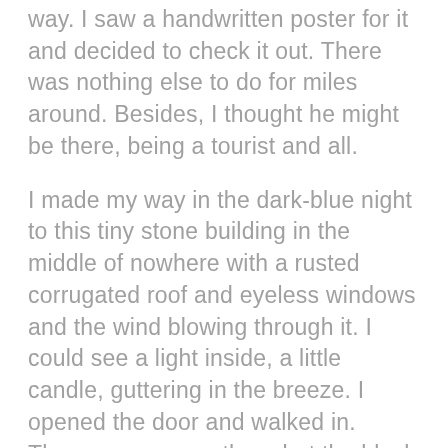way. I saw a handwritten poster for it and decided to check it out. There was nothing else to do for miles around. Besides, I thought he might be there, being a tourist and all.
I made my way in the dark-blue night to this tiny stone building in the middle of nowhere with a rusted corrugated roof and eyeless windows and the wind blowing through it. I could see a light inside, a little candle, guttering in the breeze. I opened the door and walked in. There was no one there but the black boy, seated on a log, with a guitar on his lap. Have you come for the music? he asked me. I told him I had but that I couldn't